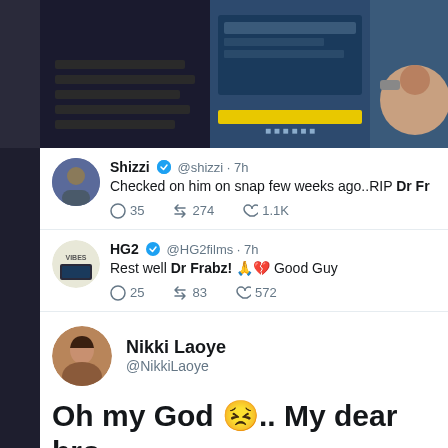[Figure (screenshot): Screenshot of Twitter/social media feed showing tweets about Dr Frabz from Shizzi, HG2films, and Nikki Laoye, with a music production studio image at top]
Shizzi ✓ @shizzi · 7h
Checked on him on snap few weeks ago..RIP Dr Fr
35  274  1.1K
HG2 ✓ @HG2films · 7h
Rest well Dr Frabz! 🙏💔 Good Guy
25  83  572
Nikki Laoye
@NikkiLaoye
Oh my God 😣.. My dear bro Frabz @DoktaFrabz This is